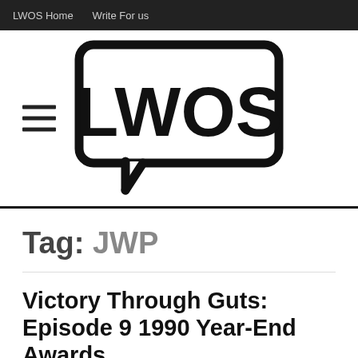LWOS Home   Write For us
[Figure (logo): LWOS logo — speech bubble containing bold text 'LWOS', with hamburger menu icon to the left]
Tag: JWP
Victory Through Guts: Episode 9 1990 Year-End Awards